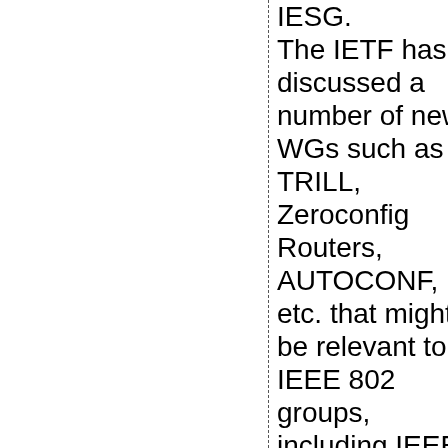IESG. The IETF has discussed a number of new WGs such as TRILL, Zeroconfig Routers, AUTOCONF, etc. that might be relevant to IEEE 802 groups, including IEEE 802.1 and 802.11s. However, until IEEE 802.11s adopts a